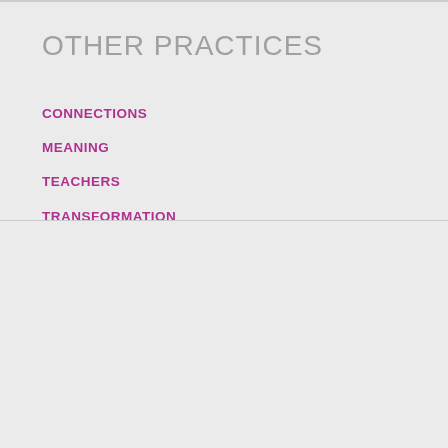OTHER PRACTICES
CONNECTIONS
MEANING
TEACHERS
TRANSFORMATION
KEYWORDS
ADDICTION
COMMUNITY
FILM
LEARNING
PRACTICE
SMALL GROUPS
WHOLENESS